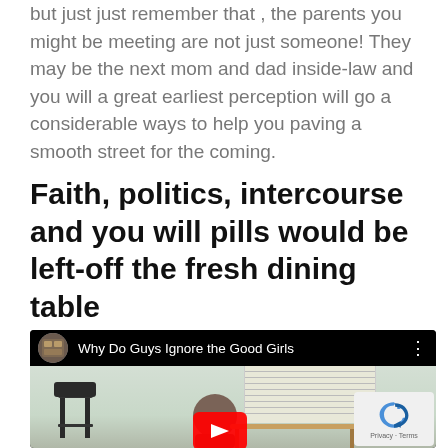but just just remember that , the parents you might be meeting are not just someone! They may be the next mom and dad inside-law and you will a great earliest perception will go a considerable ways to help you paving a smooth street for the coming.
Faith, politics, intercourse and you will pills would be left-off the fresh dining table
[Figure (screenshot): YouTube video thumbnail showing 'Why Do Guys Ignore the Good Girls' with a room scene showing chairs, a person, and a table with window blinds in the background. A red YouTube play button is visible at the bottom center. A reCAPTCHA badge with Privacy · Terms text appears in the bottom right corner.]